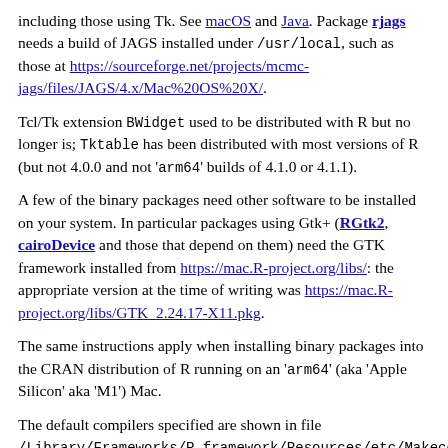including those using Tk. See macOS and Java. Package rjags needs a build of JAGS installed under /usr/local, such as those at https://sourceforge.net/projects/mcmc-jags/files/JAGS/4.x/Mac%20OS%20X/.
Tcl/Tk extension BWidget used to be distributed with R but no longer is; Tktable has been distributed with most versions of R (but not 4.0.0 and not 'arm64' builds of 4.1.0 or 4.1.1).
A few of the binary packages need other software to be installed on your system. In particular packages using Gtk+ (RGtk2, cairoDevice and those that depend on them) need the GTK framework installed from https://mac.R-project.org/libs/: the appropriate version at the time of writing was https://mac.R-project.org/libs/GTK_2.24.17-X11.pkg.
The same instructions apply when installing binary packages into the CRAN distribution of R running on an 'arm64' (aka 'Apple Silicon' aka 'M1') Mac.
The default compilers specified are shown in file /Library/Frameworks/R.framework/Resources/etc/Makeconf. At the time of writing those settings assumed that the C, Fortran and C++ compilers were on the path, using gfortran 8.2.0 (see macOS). The settings can be changed, either by editing that file or in a file such as ~/.R/Makevars (see the next section). Entries which may need to be changed include